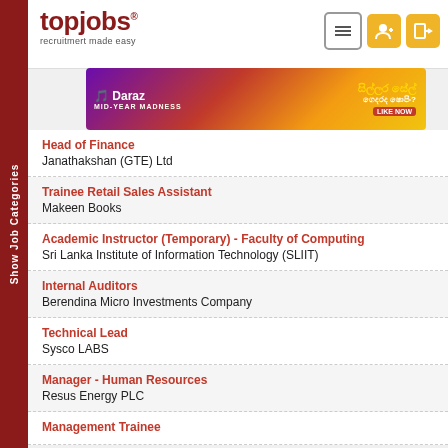[Figure (logo): topjobs logo with tagline 'recruitmert made easy']
[Figure (screenshot): Daraz MID-YEAR MADNESS advertisement banner in purple/red/yellow gradient]
Head of Finance
Janathakshan (GTE) Ltd
Trainee Retail Sales Assistant
Makeen Books
Academic Instructor (Temporary) - Faculty of Computing
Sri Lanka Institute of Information Technology (SLIIT)
Internal Auditors
Berendina Micro Investments Company
Technical Lead
Sysco LABS
Manager - Human Resources
Resus Energy PLC
Management Trainee